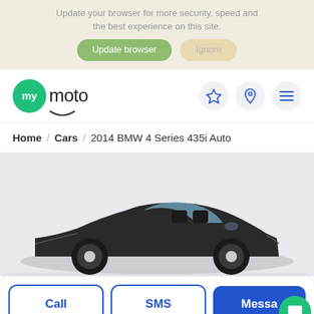Update your browser for more security, speed and the best experience on this site.
Update browser / Ignore
[Figure (logo): mymoto logo - green circle with 'my' text and 'moto' wordmark with smile]
[Figure (other): Navigation icons: star (favorites), location pin, hamburger menu]
Home / Cars / 2014 BMW 4 Series 435i Auto
[Figure (photo): Side profile photo of a dark grey BMW 4 Series 435i convertible with the roof down]
Call
SMS
Messa